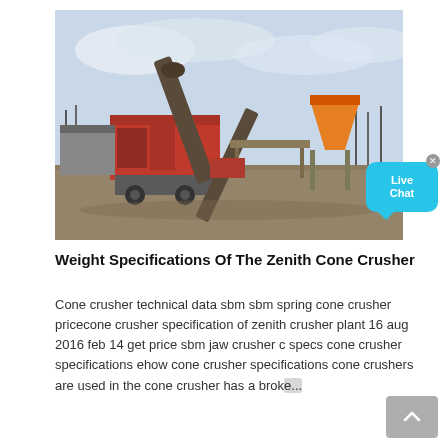[Figure (photo): Industrial mobile cone/jaw crusher plant with conveyor belts and hopper on a gravel site, outdoor industrial setting with overcast sky]
Weight Specifications Of The Zenith Cone Crusher
Cone crusher technical data sbm sbm spring cone crusher pricecone crusher specification of zenith crusher plant 16 aug 2016 feb 14 get price sbm jaw crusher c specs cone crusher specifications ehow cone crusher specifications cone crushers are used in the cone crusher has a broke...